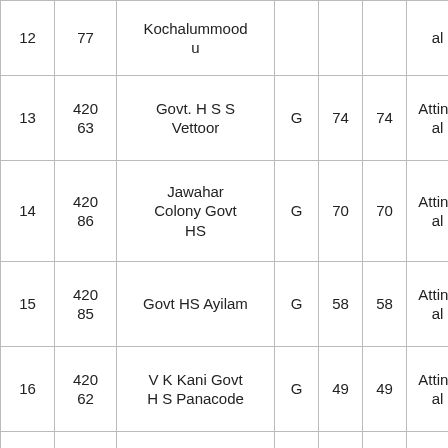| 12 | 77 | Kochalummoodu |  |  |  | al |
| 13 | 420 63 | Govt. H S S Vettoor | G | 74 | 74 | Attingal |
| 14 | 420 86 | Jawahar Colony Govt HS | G | 70 | 70 | Attingal |
| 15 | 420 85 | Govt HS Ayilam | G | 58 | 58 | Attingal |
| 16 | 420 62 | V K Kani Govt H S Panacode | G | 49 | 49 | Attingal |
| 17 | 420 10 | Nava Bharath E M H S Attingal | U | 46 | 46 | Attingal |